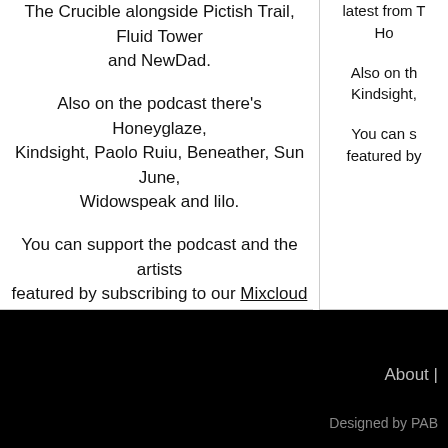The Crucible alongside Pictish Trail, Fluid Tower and NewDad.
Also on the podcast there's Honeyglaze, Kindsight, Paolo Ruiu, Beneather, Sun June, Widowspeak and lilo.
You can support the podcast and the artists featured by subscribing to our Mixcloud Select page.
latest from T Ho...
Also on th Kindsight,
You can s featured by
About |
Designed by PAB